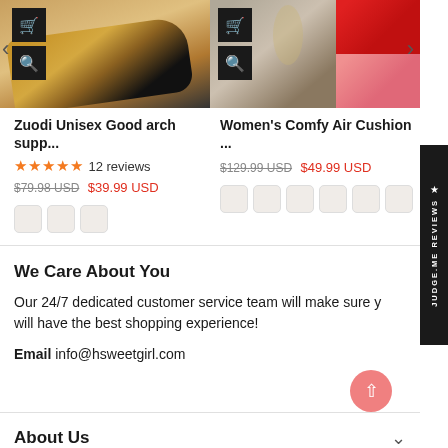[Figure (screenshot): Product carousel showing two shoe products with cart and zoom icon buttons. Left: brown/tan shoe. Right: women's air cushion sneakers in red and pink.]
Zuodi Unisex Good arch supp...
★★★★★ 12 reviews
$79.98 USD  $39.99 USD
Women's Comfy Air Cushion ...
$129.99 USD  $49.99 USD
We Care About You
Our 24/7 dedicated customer service team will make sure you will have the best shopping experience!
Email info@hsweetgirl.com
About Us